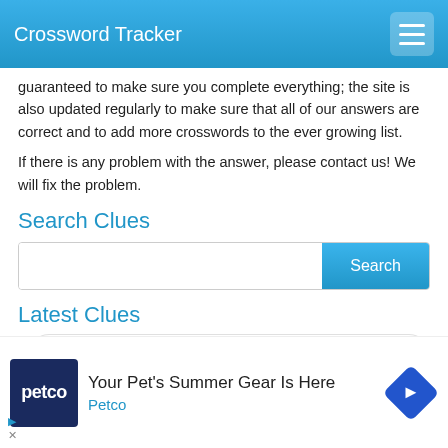Crossword Tracker
guaranteed to make sure you complete everything; the site is also updated regularly to make sure that all of our answers are correct and to add more crosswords to the ever growing list.
If there is any problem with the answer, please contact us! We will fix the problem.
Search Clues
[Search input with Search button]
Latest Clues
Stolen-car trip
Extremes of emotion in tedious passage, put...
[Figure (other): Petco advertisement banner: Your Pet's Summer Gear Is Here]